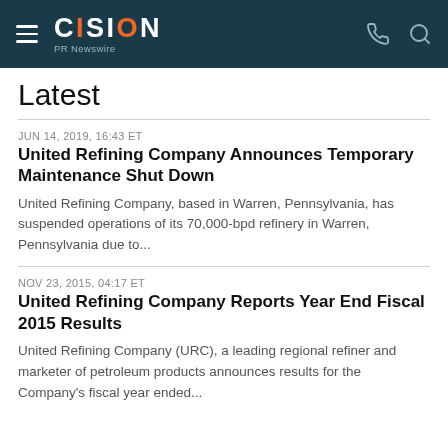CISION PR Newswire
Latest
JUN 14, 2019, 16:43 ET
United Refining Company Announces Temporary Maintenance Shut Down
United Refining Company, based in Warren, Pennsylvania, has suspended operations of its 70,000-bpd refinery in Warren, Pennsylvania due to...
NOV 23, 2015, 04:17 ET
United Refining Company Reports Year End Fiscal 2015 Results
United Refining Company (URC), a leading regional refiner and marketer of petroleum products announces results for the Company's fiscal year ended...